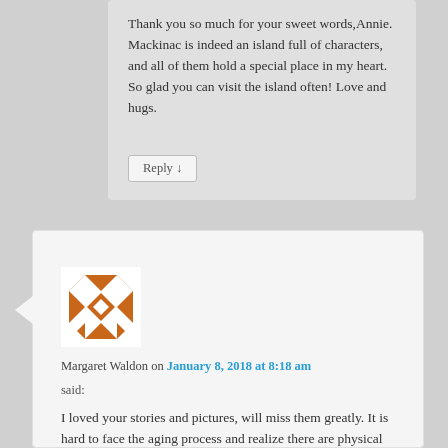Thank you so much for your sweet words,Annie. Mackinac is indeed an island full of characters, and all of them hold a special place in my heart. So glad you can visit the island often! Love and hugs.
Reply ↓
[Figure (illustration): User avatar icon with orange geometric quilt-like pattern on white background]
Margaret Waldon on January 8, 2018 at 8:18 am
said:
I loved your stories and pictures, will miss them greatly. It is hard to face the aging process and realize there are physical things that now stop us. I wish you and Ted and fur babies all the best.